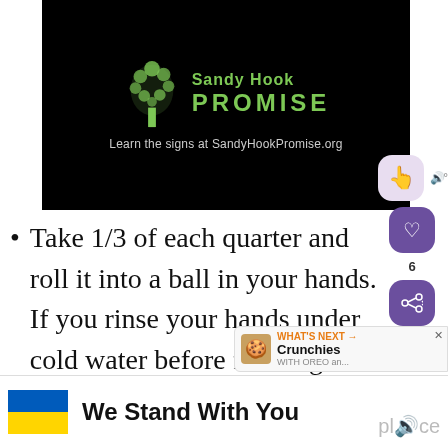[Figure (logo): Sandy Hook Promise logo on black background with green tree made of hands, text 'Sandy Hook PROMISE' in green, and URL 'Learn the signs at SandyHookPromise.org']
Take 1/3 of each quarter and roll it into a ball in your hands. If you rinse your hands under cold water before forming the balls the mixture will not stick to your hands
[Figure (infographic): Ukraine flag (blue and yellow) with bold text 'We Stand With You']